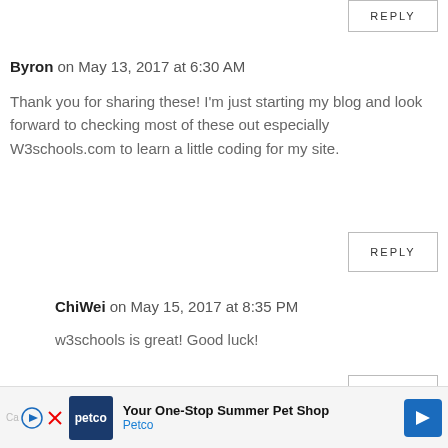REPLY
Byron on May 13, 2017 at 6:30 AM
Thank you for sharing these! I'm just starting my blog and look forward to checking most of these out especially W3schools.com to learn a little coding for my site.
REPLY
ChiWei on May 15, 2017 at 8:35 PM
w3schools is great! Good luck!
REPLY
[Figure (other): Petco advertisement banner: Your One-Stop Summer Pet Shop]